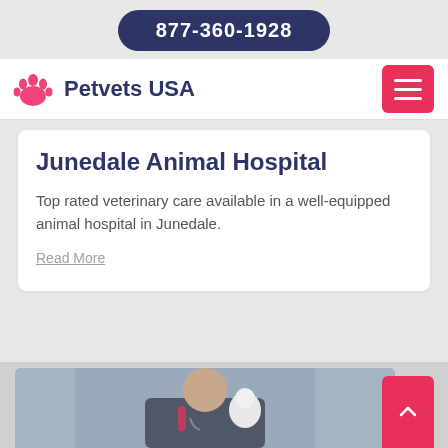877-360-1928
[Figure (logo): Petvets USA logo with pink paw print icon and dark blue text]
Junedale Animal Hospital
Top rated veterinary care available in a well-equipped animal hospital in Junedale.
Read More
[Figure (photo): Veterinarian in scrubs holding a white bird/parrot, with blurred background]